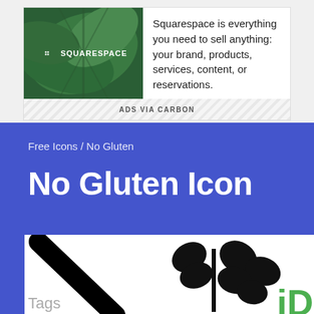[Figure (other): Squarespace advertisement banner with green leaf background image and logo, text: Squarespace is everything you need to sell anything: your brand, products, services, content, or reservations. ADS VIA CARBON]
Free Icons / No Gluten
No Gluten Icon
[Figure (illustration): No gluten icon showing a wheat stalk with a diagonal line through it in black on white background, partially cropped]
Tags